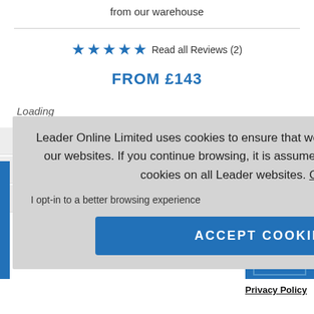from our warehouse
★★★★★ Read all Reviews (2)
FROM £143
Loading
Leader Online Limited uses cookies to ensure that we give you the best experience on our websites. If you continue browsing, it is assumed that you consent to receive all cookies on all Leader websites. Cookies Page.
I opt-in to a better browsing experience
ACCEPT COOKIES
GO
Privacy Policy